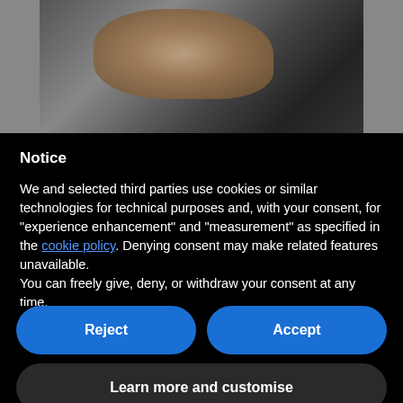[Figure (photo): Close-up photo of a person's hand gripping a vehicle steering wheel, dark background]
Notice
We and selected third parties use cookies or similar technologies for technical purposes and, with your consent, for “experience enhancement” and “measurement” as specified in the cookie policy. Denying consent may make related features unavailable.
You can freely give, deny, or withdraw your consent at any time.
Reject
Accept
Learn more and customise